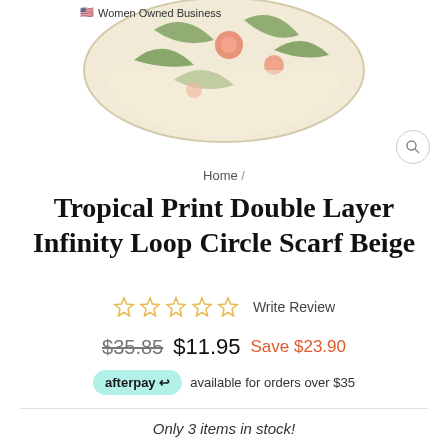[Figure (photo): Tropical print scarf folded/draped, showing beige, pink, and green tropical leaf pattern]
Women Owned Business
Home /
Tropical Print Double Layer Infinity Loop Circle Scarf Beige
☆ ☆ ☆ ☆ ☆ Write Review
$35.85  $11.95  Save $23.90
afterpay available for orders over $35
Only 3 items in stock!